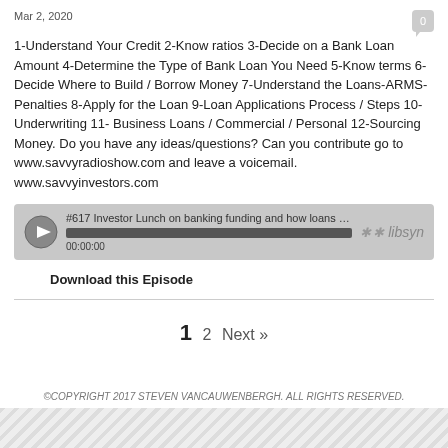Mar 2, 2020
1-Understand Your Credit 2-Know ratios 3-Decide on a Bank Loan Amount 4-Determine the Type of Bank Loan You Need 5-Know terms 6-Decide Where to Build / Borrow Money 7-Understand the Loans-ARMS-Penalties 8-Apply for the Loan 9-Loan Applications Process / Steps 10-Underwriting 11- Business Loans / Commercial / Personal 12-Sourcing Money. Do you have any ideas/questions? Can you contribute go to www.savvyradioshow.com and leave a voicemail. www.savvyinvestors.com
[Figure (other): Audio player widget showing episode #617 Investor Lunch on banking funding and how loans w... with progress bar at 00:00:00 and libsyn logo]
Download this Episode
1  2  Next »
©COPYRIGHT 2017 STEVEN VANCAUWENBERGH. ALL RIGHTS RESERVED.